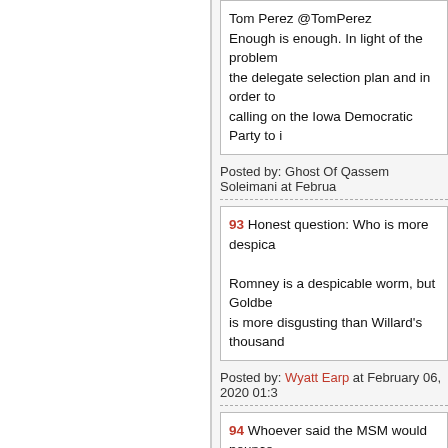Tom Perez @TomPerez
Enough is enough. In light of the problem the delegate selection plan and in order to calling on the Iowa Democratic Party to i
Posted by: Ghost Of Qassem Soleimani at Februa
93 Honest question: Who is more despica

Romney is a despicable worm, but Goldbe is more disgusting than Willard's thousand
Posted by: Wyatt Earp at February 06, 2020 01:3
94 Whoever said the MSM would pounce two women on MSNBC showing the clip, Anything to NOT talk about the coup.
Posted by: Lizzy at February 06, 2020 01:36 PM
95 Yea! SE Cupp thread!

I'll get my bottle of astroglide and some ha